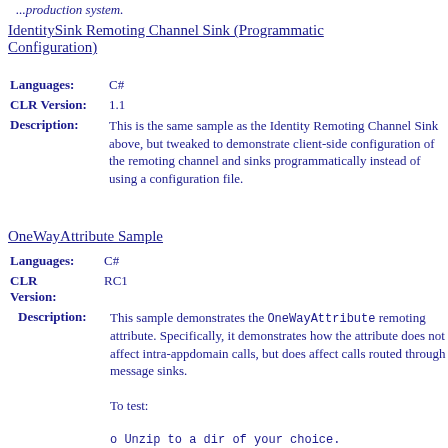...production system.
IdentitySink Remoting Channel Sink (Programmatic Configuration)
Languages: C#
CLR Version: 1.1
Description: This is the same sample as the Identity Remoting Channel Sink above, but tweaked to demonstrate client-side configuration of the remoting channel and sinks programmatically instead of using a configuration file.
OneWayAttribute Sample
Languages: C#
CLR Version: RC1
Description: This sample demonstrates the OneWayAttribute remoting attribute. Specifically, it demonstrates how the attribute does not affect intra-appdomain calls, but does affect calls routed through message sinks.

To test:

o Unzip to a dir of your choice.
o Open a cmd shell in that dir.